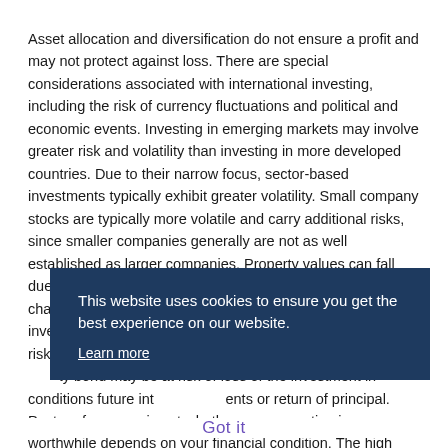Asset allocation and diversification do not ensure a profit and may not protect against loss. There are special considerations associated with international investing, including the risk of currency fluctuations and political and economic events. Investing in emerging markets may involve greater risk and volatility than investing in more developed countries. Due to their narrow focus, sector-based investments typically exhibit greater volatility. Small company stocks are typically more volatile and carry additional risks, since smaller companies generally are not as well established as larger companies. Property values can fall due to environmental, economic or other reasons, and changes in interest rates can negatively affect bond investments. Fixed-income investments involve bond market risk, credit risk, inflation risk, and liquidity risk. The highest quality bond may be at risk of loss of the investment if conditions future interest payments or return of principal. Past performance is not whether bond investing is worthwhile depends on your financial condition. The high degree of leverage that is often obtainable in
[Figure (other): Cookie consent overlay with dark navy background. Text reads: 'This website uses cookies to ensure you get the best experience on our website.' with a 'Learn more' underlined link.]
Got it